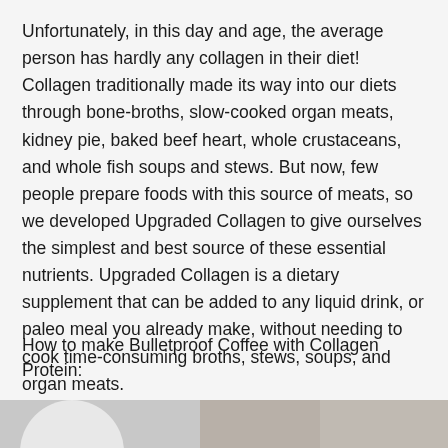Unfortunately, in this day and age, the average person has hardly any collagen in their diet! Collagen traditionally made its way into our diets through bone-broths, slow-cooked organ meats, kidney pie, baked beef heart, whole crustaceans, and whole fish soups and stews. But now, few people prepare foods with this source of meats, so we developed Upgraded Collagen to give ourselves the simplest and best source of these essential nutrients. Upgraded Collagen is a dietary supplement that can be added to any liquid drink, or paleo meal you already make, without needing to cook time-consuming broths, stews, soups, and organ meats.
How to make Bulletproof Coffee with Collagen Protein:
[Figure (photo): Partial photo visible at bottom of page, appears to show a person]